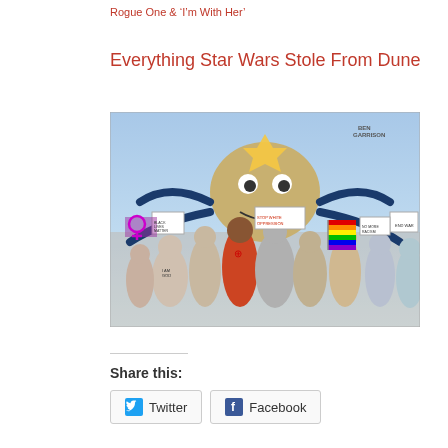Rogue One & 'I'm With Her'
Everything Star Wars Stole From Dune
[Figure (illustration): A political cartoon by Ben Garrison depicting a large spider-like creature with a Star of David on its head, surrounded by a crowd of protesters holding signs including 'Black Lives Matter', 'Stop White Oppression', 'No More Racism', and other protest signs, along with a rainbow pride flag.]
Share this:
Twitter
Facebook